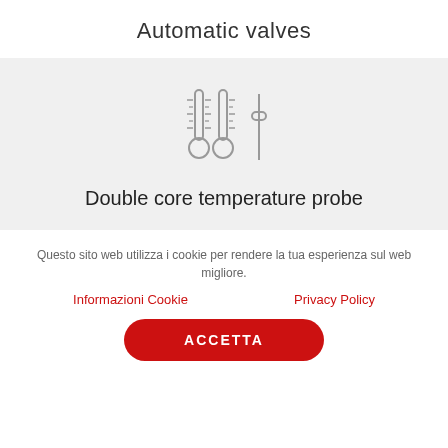Automatic valves
[Figure (illustration): Icon of two thermometers and a slider/probe control, rendered in light gray outline style]
Double core temperature probe
Questo sito web utilizza i cookie per rendere la tua esperienza sul web migliore.
Informazioni Cookie
Privacy Policy
ACCETTA